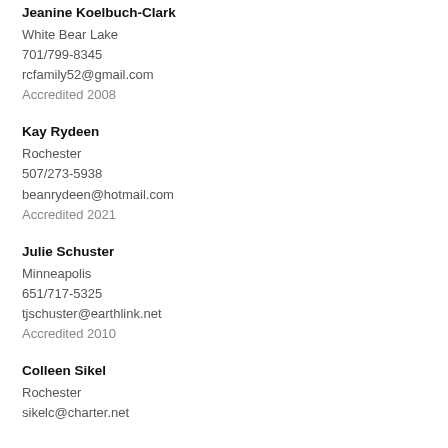Jeanine Koelbuch-Clark
White Bear Lake
701/799-8345
rcfamily52@gmail.com
Accredited 2008
Kay Rydeen
Rochester
507/273-5938
beanrydeen@hotmail.com
Accredited 2021
Julie Schuster
Minneapolis
651/717-5325
tjschuster@earthlink.net
Accredited 2010
Colleen Sikel
Rochester
sikelc@charter.net